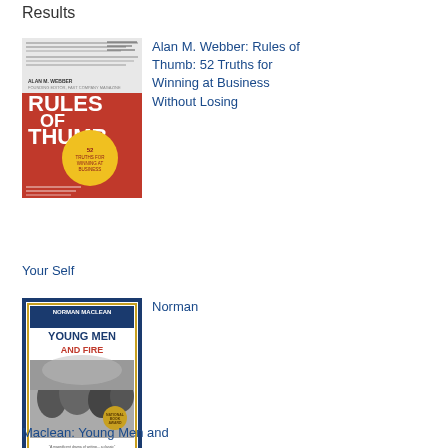Results
[Figure (illustration): Book cover: Rules of Thumb by Alan M. Webber - red cover with bold white text and a yellow circular badge]
Alan M. Webber: Rules of Thumb: 52 Truths for Winning at Business Without Losing Your Self
[Figure (illustration): Book cover: Young Men and Fire by Norman Maclean - dark blue border with black and white photograph of firefighters]
Norman Maclean: Young Men and